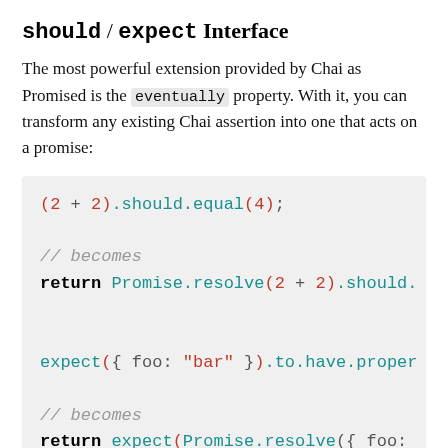should / expect Interface
The most powerful extension provided by Chai as Promised is the eventually property. With it, you can transform any existing Chai assertion into one that acts on a promise:
(2 + 2).should.equal(4);

// becomes
return Promise.resolve(2 + 2).should.
expect({ foo: "bar" }).to.have.proper

// becomes
return expect(Promise.resolve({ foo: